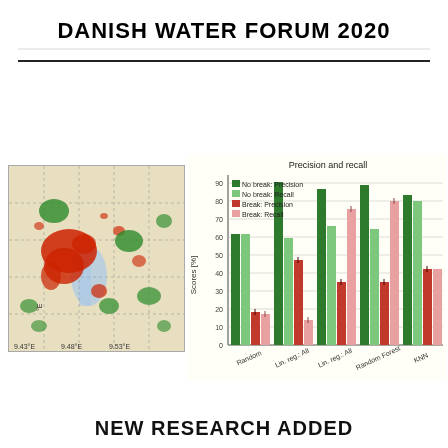DANISH WATER FORUM 2020
[Figure (grouped-bar-chart): Precision and recall]
[Figure (map): Geographic map showing land cover classification with red and green patches over a city area near coordinates 9.43E to 9.53E]
NEW RESEARCH ADDED